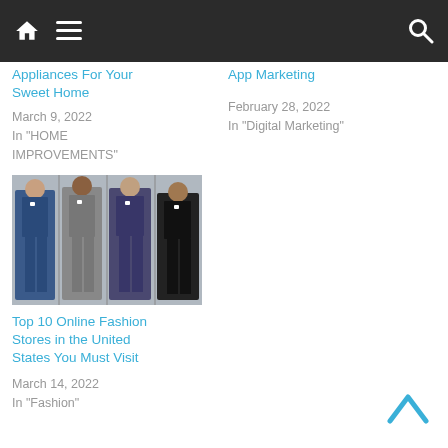Navigation bar with home, menu, and search icons
Appliances For Your Sweet Home
March 9, 2022
In "HOME IMPROVEMENTS"
App Marketing
February 28, 2022
In "Digital Marketing"
[Figure (photo): Four men in various business suits standing outdoors]
Top 10 Online Fashion Stores in the United States You Must Visit
March 14, 2022
In "Fashion"